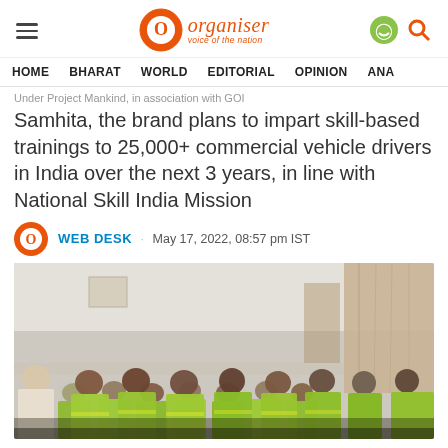Organiser – voice of the nation | HOME  BHARAT  WORLD  EDITORIAL  OPINION  ANA…
Samhita, the brand plans to impart skill-based trainings to 25,000+ commercial vehicle drivers in India over the next 3 years, in line with National Skill India Mission
WEB DESK · May 17, 2022, 08:57 pm IST
[Figure (photo): A room full of commercial vehicle drivers wearing bright yellow-green safety vests, seated in rows attending a training session. A trainer stands on the left. The room has a beige curtain backdrop on the right.]